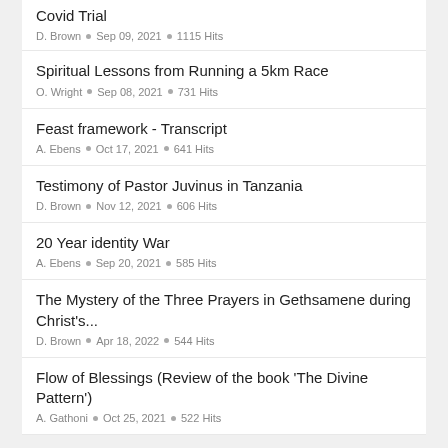Covid Trial
D. Brown • Sep 09, 2021 • 1115 Hits
Spiritual Lessons from Running a 5km Race
O. Wright • Sep 08, 2021 • 731 Hits
Feast framework - Transcript
A. Ebens • Oct 17, 2021 • 641 Hits
Testimony of Pastor Juvinus in Tanzania
D. Brown • Nov 12, 2021 • 606 Hits
20 Year identity War
A. Ebens • Sep 20, 2021 • 585 Hits
The Mystery of the Three Prayers in Gethsamene during Christ's...
D. Brown • Apr 18, 2022 • 544 Hits
Flow of Blessings (Review of the book 'The Divine Pattern')
A. Gathoni • Oct 25, 2021 • 522 Hits